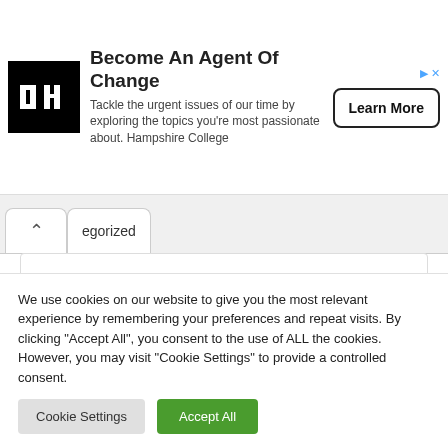[Figure (advertisement): Hampshire College ad with black logo block containing IEI symbol, headline 'Become An Agent Of Change', subtext about tackling urgent issues, and a 'Learn More' button]
judi slot online terpercaya
We use cookies on our website to give you the most relevant experience by remembering your preferences and repeat visits. By clicking "Accept All", you consent to the use of ALL the cookies. However, you may visit "Cookie Settings" to provide a controlled consent.